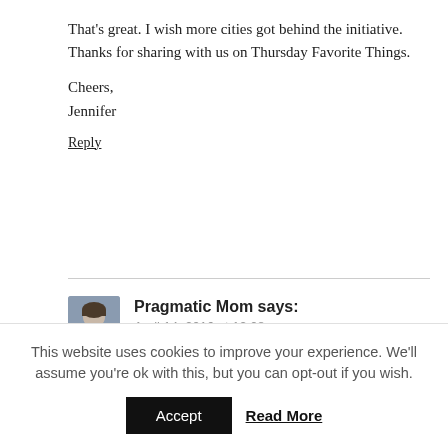That’s great. I wish more cities got behind the initiative. Thanks for sharing with us on Thursday Favorite Things.
Cheers,
Jennifer
Reply
Pragmatic Mom says:
April 14, 2016 at 12:08 pm
Hi Jennifer,
I hope so too! Thanks for hosting Thursday Favorite Things.
This website uses cookies to improve your experience. We’ll assume you’re ok with this, but you can opt-out if you wish.
Accept  Read More